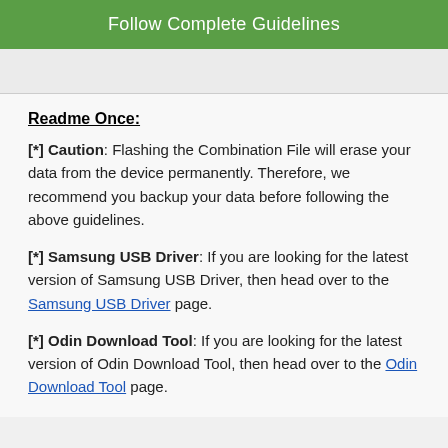Follow Complete Guidelines
Readme Once:
[*] Caution: Flashing the Combination File will erase your data from the device permanently. Therefore, we recommend you backup your data before following the above guidelines.
[*] Samsung USB Driver: If you are looking for the latest version of Samsung USB Driver, then head over to the Samsung USB Driver page.
[*] Odin Download Tool: If you are looking for the latest version of Odin Download Tool, then head over to the Odin Download Tool page.